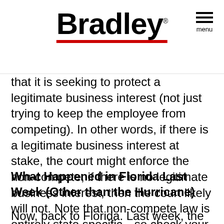Bradley
that it is seeking to protect a legitimate business interest (not just trying to keep the employee from competing). In other words, if there is a legitimate business interest at stake, the court might enforce the non-compete; if there is no legitimate business interest, then the court likely will not. Note that non-compete law is entirely state specific—so check your state statute and caselaw.
What Happened in Florida Last Week (Other than the Hurricane)
Now, back to Florida. Last week, the Supreme